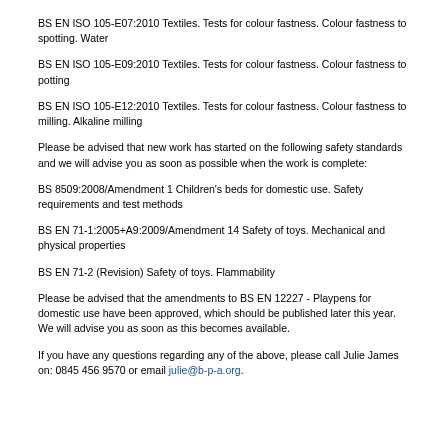BS EN ISO 105-E07:2010 Textiles. Tests for colour fastness. Colour fastness to spotting. Water
BS EN ISO 105-E09:2010 Textiles. Tests for colour fastness. Colour fastness to potting
BS EN ISO 105-E12:2010 Textiles. Tests for colour fastness. Colour fastness to milling. Alkaline milling
Please be advised that new work has started on the following safety standards and we will advise you as soon as possible when the work is complete:
BS 8509:2008/Amendment 1 Children's beds for domestic use. Safety requirements and test methods
BS EN 71-1:2005+A9:2009/Amendment 14 Safety of toys. Mechanical and physical properties
BS EN 71-2 (Revision) Safety of toys. Flammability
Please be advised that the amendments to BS EN 12227 - Playpens for domestic use have been approved, which should be published later this year. We will advise you as soon as this becomes available.
If you have any questions regarding any of the above, please call Julie James on: 0845 456 9570 or email julie@b-p-a.org.